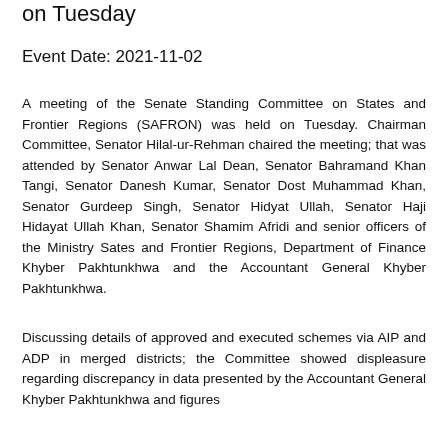on Tuesday
Event Date: 2021-11-02
A meeting of the Senate Standing Committee on States and Frontier Regions (SAFRON) was held on Tuesday. Chairman Committee, Senator Hilal-ur-Rehman chaired the meeting; that was attended by Senator Anwar Lal Dean, Senator Bahramand Khan Tangi, Senator Danesh Kumar, Senator Dost Muhammad Khan, Senator Gurdeep Singh, Senator Hidyat Ullah, Senator Haji Hidayat Ullah Khan, Senator Shamim Afridi and senior officers of the Ministry Sates and Frontier Regions, Department of Finance Khyber Pakhtunkhwa and the Accountant General Khyber Pakhtunkhwa.
Discussing details of approved and executed schemes via AIP and ADP in merged districts; the Committee showed displeasure regarding discrepancy in data presented by the Accountant General Khyber Pakhtunkhwa and figures